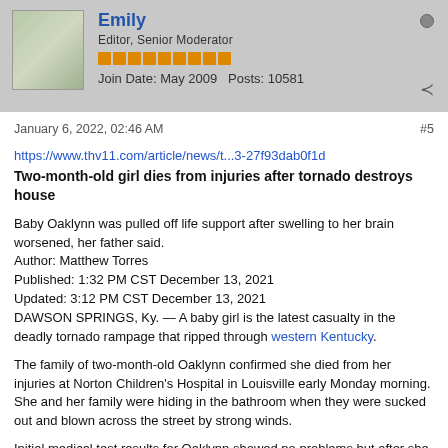Emily
Editor, Senior Moderator
Join Date: May 2009   Posts: 10581
January 6, 2022, 02:46 AM
#5
https://www.thv11.com/article/news/t...3-27f93dab0f1d
Two-month-old girl dies from injuries after tornado destroys house
Baby Oaklynn was pulled off life support after swelling to her brain worsened, her father said.
Author: Matthew Torres
Published: 1:32 PM CST December 13, 2021
Updated: 3:12 PM CST December 13, 2021
DAWSON SPRINGS, Ky. — A baby girl is the latest casualty in the deadly tornado rampage that ripped through western Kentucky.
The family of two-month-old Oaklynn confirmed she died from her injuries at Norton Children's Hospital in Louisville early Monday morning. She and her family were hiding in the bathroom when they were sucked out and blown across the street by strong winds.
Initial medical test results for Oaklynn showed no problems but after she kept grunting and seemed sleepier following her discharge from